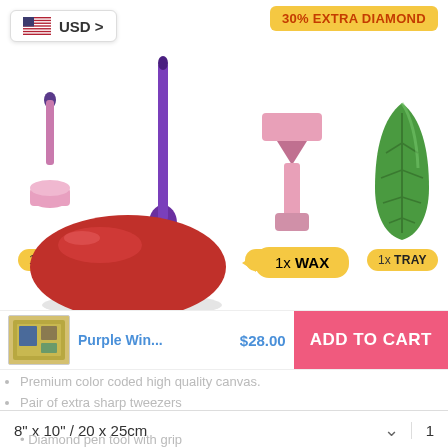[Figure (illustration): Product kit illustration showing tool items: 1x PEN (pink), 1x TWEEZERS (purple), 1x WIDE TIP (pink), 1x TRAY (green), 1x WAX (red), with yellow bubble labels. USD currency badge top-left, 30% EXTRA DIAMOND promo badge top-right.]
USD >
30% EXTRA DIAMOND
1x PEN
1x TWEEZERS
1x WIDE TIP
1x TRAY
1x WAX
Purple Win...   $28.00
ADD TO CART
Premium color coded high quality canvas.
$52.00
Pair of extra sharp tweezers
8" x 10" / 20 x 25cm   ∨   1
Diamond pen tool with grip